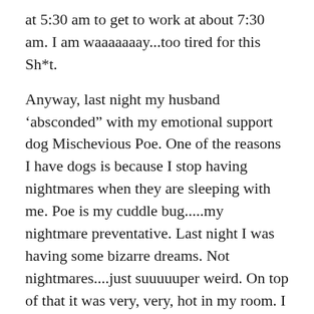at 5:30 am to get to work at about 7:30 am. I am waaaaaaay...too tired for this Sh*t.
Anyway, last night my husband ‘absconded” with my emotional support dog Mischevious Poe. One of the reasons I have dogs is because I stop having nightmares when they are sleeping with me. Poe is my cuddle bug.....my nightmare preventative. Last night I was having some bizarre dreams. Not nightmares....just suuuuuper weird. On top of that it was very, very, hot in my room. I was miserable, so I had to get up at 3:00 am and move to the living room. The AC is so much better in the living room. So I found my pup Poe and stole him back , from my husbands room 🙂 🙂 I took my